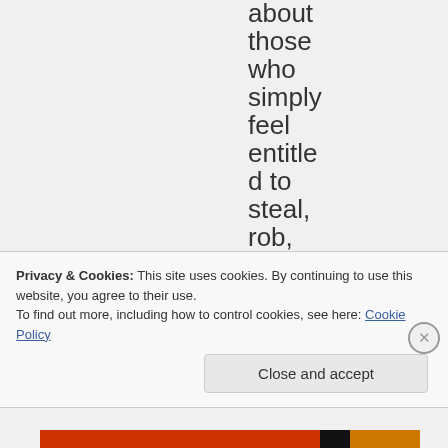about those who simply feel entitled to steal, rob, beat up or
Privacy & Cookies: This site uses cookies. By continuing to use this website, you agree to their use. To find out more, including how to control cookies, see here: Cookie Policy
Close and accept